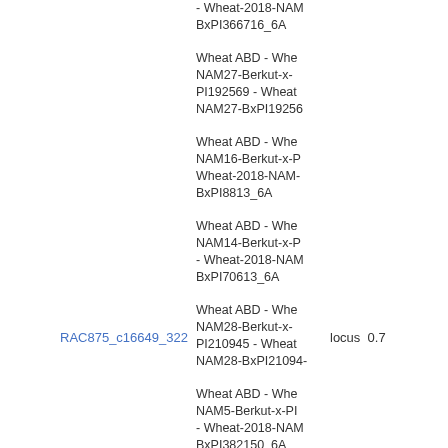- Wheat-2018-NAMBxPI366716_6A
Wheat ABD - Wheat-NAM27-Berkut-x-PI192569 - Wheat-2018-NAM27-BxPI19256
Wheat ABD - Wheat-NAM16-Berkut-x-PI Wheat-2018-NAMBxPI8813_6A
Wheat ABD - Wheat-NAM14-Berkut-x-PI - Wheat-2018-NAMBxPI70613_6A
Wheat ABD - Wheat-NAM28-Berkut-x-PI210945 - Wheat-2018-NAM28-BxPI21094
Wheat ABD - Wheat-NAM5-Berkut-x-PI - Wheat-2018-NAMBxPI382150_6A
RAC875_c16649_322
locus  0.7
Wheat ABD - Wheat-NAM24-Berkut-x-PI192147 - Wheat-2018-NAM24-BxPI1921